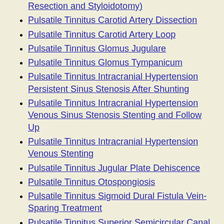Pulsatile Tinnitus Carotid Artery Dissection
Pulsatile Tinnitus Carotid Artery Loop
Pulsatile Tinnitus Glomus Jugulare
Pulsatile Tinnitus Glomus Tympanicum
Pulsatile Tinnitus Intracranial Hypertension Persistent Sinus Stenosis After Shunting
Pulsatile Tinnitus Intracranial Hypertension Venous Sinus Stenosis Stenting and Follow Up
Pulsatile Tinnitus Intracranial Hypertension Venous Stenting
Pulsatile Tinnitus Jugular Plate Dehiscence
Pulsatile Tinnitus Otospongiosis
Pulsatile Tinnitus Sigmoid Dural Fistula Vein-Sparing Treatment
Pulsatile Tinnitus Superior Semicircular Canal Dehiscence
Pulsatile Tinnitus Venous Sinus Diverticulum Stenting